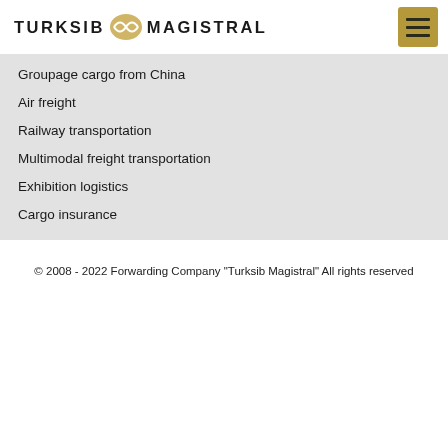TURKSIB MAGISTRAL
Groupage cargo from China
Air freight
Railway transportation
Multimodal freight transportation
Exhibition logistics
Cargo insurance
© 2008 - 2022 Forwarding Company "Turksib Magistral" All rights reserved